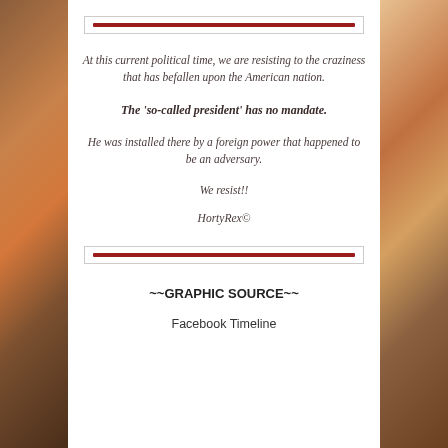[Figure (other): Decorative red horizontal rule in a bordered box at the top of the white center panel]
At this current political time, we are resisting to the craziness that has befallen upon the American nation.
The ‘so-called president’ has no mandate.
He was installed there by a foreign power that happened to be an adversary.
We resist!!
HortyRex©
[Figure (other): Decorative red horizontal rule in a bordered box at the bottom of the white center panel]
~~GRAPHIC SOURCE~~
Facebook Timeline